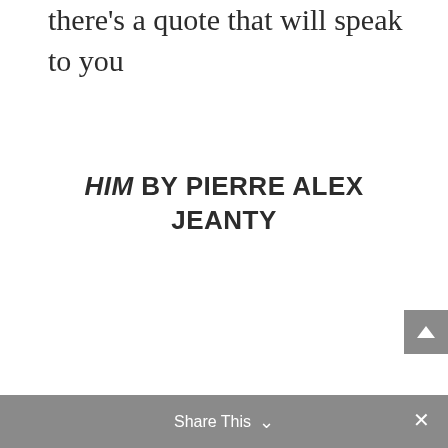there's a quote that will speak to you
HIM BY PIERRE ALEX JEANTY
Share This ∨  ×